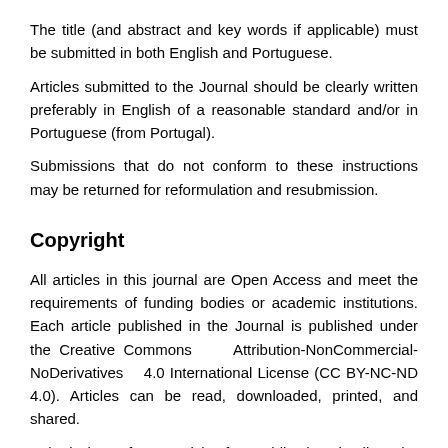The title (and abstract and key words if applicable) must be submitted in both English and Portuguese.
Articles submitted to the Journal should be clearly written preferably in English of a reasonable standard and/or in Portuguese (from Portugal).
Submissions that do not conform to these instructions may be returned for reformulation and resubmission.
Copyright
All articles in this journal are Open Access and meet the requirements of funding bodies or academic institutions. Each article published in the Journal is published under the Creative Commons Attribution-NonCommercial-NoDerivatives 4.0 International License (CC BY-NC-ND 4.0). Articles can be read, downloaded, printed, and shared.
Submission of an article for publication implies the authors'